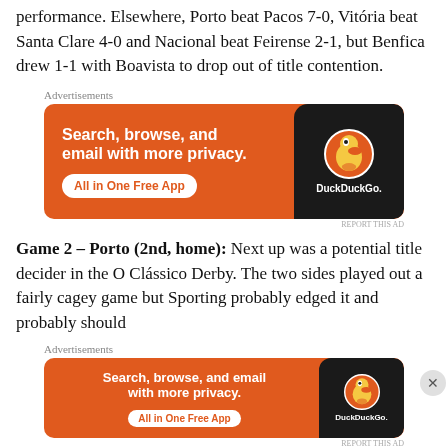performance. Elsewhere, Porto beat Pacos 7-0, Vitória beat Santa Clare 4-0 and Nacional beat Feirense 2-1, but Benfica drew 1-1 with Boavista to drop out of title contention.
[Figure (screenshot): DuckDuckGo advertisement banner: orange background with white text 'Search, browse, and email with more privacy.' and 'All in One Free App' button. Right side shows dark phone with DuckDuckGo logo and brand name.]
Game 2 – Porto (2nd, home): Next up was a potential title decider in the O Clássico Derby. The two sides played out a fairly cagey game but Sporting probably edged it and probably should
[Figure (screenshot): DuckDuckGo advertisement banner (smaller): orange background with white text 'Search, browse, and email with more privacy.' and 'All in One Free App' button. Right side shows dark phone with DuckDuckGo logo.]